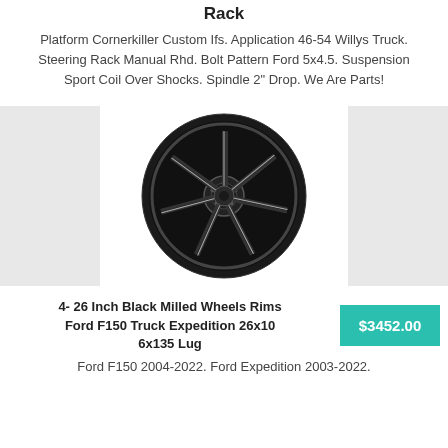Rack
Platform Cornerkiller Custom Ifs. Application 46-54 Willys Truck. Steering Rack Manual Rhd. Bolt Pattern Ford 5x4.5. Suspension Sport Coil Over Shocks. Spindle 2" Drop. We Are Parts!
[Figure (photo): A black milled multi-spoke alloy wheel/rim photographed against a white background, centered between two gray side panels.]
4- 26 Inch Black Milled Wheels Rims Ford F150 Truck Expedition 26x10 6x135 Lug
$3452.00
Ford F150 2004-2022. Ford Expedition 2003-2022.